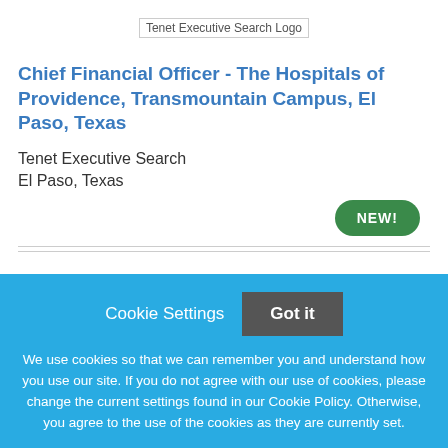[Figure (logo): Tenet Executive Search Logo placeholder image]
Chief Financial Officer - The Hospitals of Providence, Transmountain Campus, El Paso, Texas
Tenet Executive Search
El Paso, Texas
NEW!
Cookie Settings  Got it
We use cookies so that we can remember you and understand how you use our site. If you do not agree with our use of cookies, please change the current settings found in our Cookie Policy. Otherwise, you agree to the use of the cookies as they are currently set.